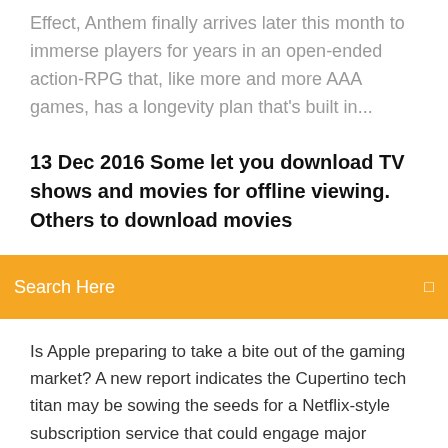Effect, Anthem finally arrives later this month to immerse players for years in an open-ended action-RPG that, like more and more AAA games, has a longevity plan that's built in...
13 Dec 2016 Some let you download TV shows and movies for offline viewing. Others to download movies
[Figure (other): Orange search bar with text 'Search Here' and a small icon on the right]
Is Apple preparing to take a bite out of the gaming market? A new report indicates the Cupertino tech titan may be sowing the seeds for a Netflix-style subscription service that could engage major developers to deliver existing games under... Gaming: SEGA is packing the retro Genesis Mini with 40 classic games (yep, that means Sonic), and it's headed our way this September. Plus, Black Ops 4 is taking the batt The show's eighth episode investigates the backstory of a major villain to its detriment. Cord-cutting does not mean giving up the most